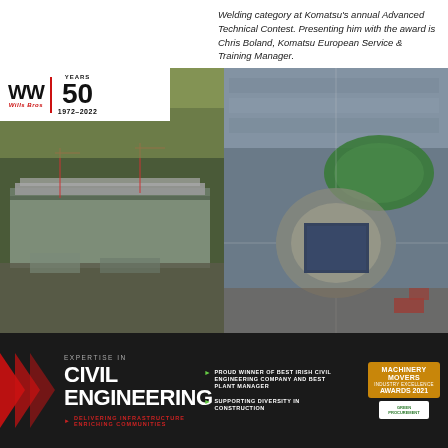Welding category at Komatsu's annual Advanced Technical Contest. Presenting him with the award is Chris Boland, Komatsu European Service & Training Manager.
[Figure (photo): Willis Bros 50 Years 1972-2022 logo overlay on aerial construction site photo (left) and aerial view of roundabout/road development with housing (right)]
[Figure (infographic): Dark banner with red chevrons showing: EXPERTISE IN / CIVIL ENGINEERING / DELIVERING INFRASTRUCTURE ENRICHING COMMUNITIES / PROUD WINNER OF BEST IRISH CIVIL ENGINEERING COMPANY AND BEST PLANT MANAGER / SUPPORTING DIVERSITY IN CONSTRUCTION / Machinery Movers Awards 2021 badge]